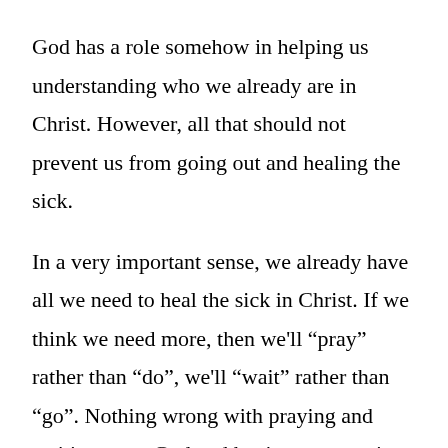God has a role somehow in helping us understanding who we already are in Christ. However, all that should not prevent us from going out and healing the sick.

In a very important sense, we already have all we need to heal the sick in Christ. If we think we need more, then we’ll “pray” rather than “do”, we’ll “wait” rather than “go”. Nothing wrong with praying and waiting upon God and having communion with God. I think that’s good. But that’s often an excuse for not going out and doing what we’re told to do in the Bible and recognizing